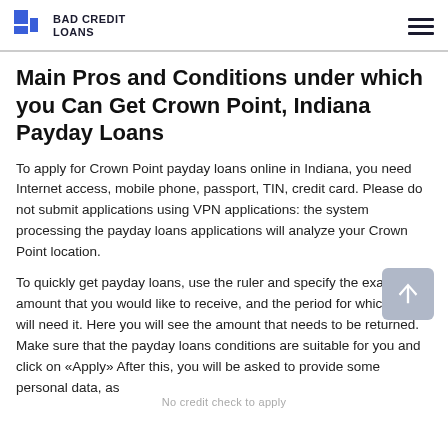BAD CREDIT LOANS
Main Pros and Conditions under which you Can Get Crown Point, Indiana Payday Loans
To apply for Crown Point payday loans online in Indiana, you need Internet access, mobile phone, passport, TIN, credit card. Please do not submit applications using VPN applications: the system processing the payday loans applications will analyze your Crown Point location.
To quickly get payday loans, use the ruler and specify the exact amount that you would like to receive, and the period for which you will need it. Here you will see the amount that needs to be returned. Make sure that the payday loans conditions are suitable for you and click on «Apply» After this, you will be asked to provide some personal data, as